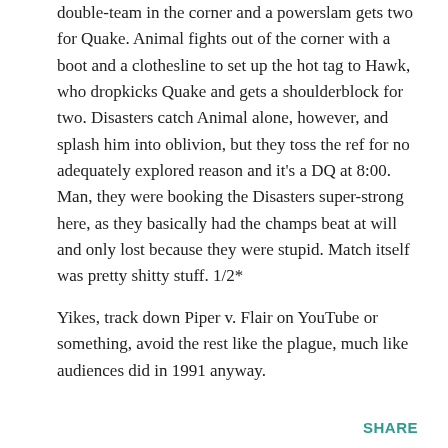double-team in the corner and a powerslam gets two for Quake. Animal fights out of the corner with a boot and a clothesline to set up the hot tag to Hawk, who dropkicks Quake and gets a shoulderblock for two. Disasters catch Animal alone, however, and splash him into oblivion, but they toss the ref for no adequately explored reason and it's a DQ at 8:00. Man, they were booking the Disasters super-strong here, as they basically had the champs beat at will and only lost because they were stupid. Match itself was pretty shitty stuff. 1/2*
Yikes, track down Piper v. Flair on YouTube or something, avoid the rest like the plague, much like audiences did in 1991 anyway.
SHARE